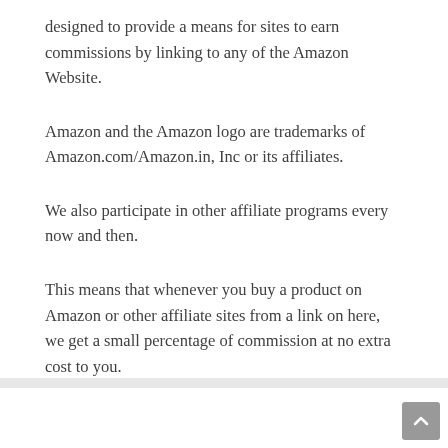designed to provide a means for sites to earn commissions by linking to any of the Amazon Website.
Amazon and the Amazon logo are trademarks of Amazon.com/Amazon.in, Inc or its affiliates.
We also participate in other affiliate programs every now and then.
This means that whenever you buy a product on Amazon or other affiliate sites from a link on here, we get a small percentage of commission at no extra cost to you.